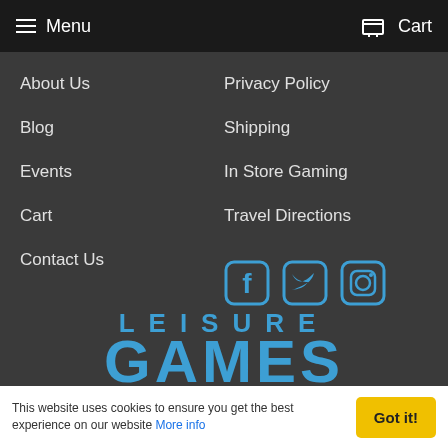Menu   Cart
About Us
Privacy Policy
Blog
Shipping
Events
In Store Gaming
Cart
Travel Directions
Contact Us
[Figure (logo): Leisure Games logo with LEISURE text above and GAMES text below in blue block letters on dark background]
& 100 Ballards Lane, Finchley, London N3 3DN
This website uses cookies to ensure you get the best experience on our website More info   Got it!